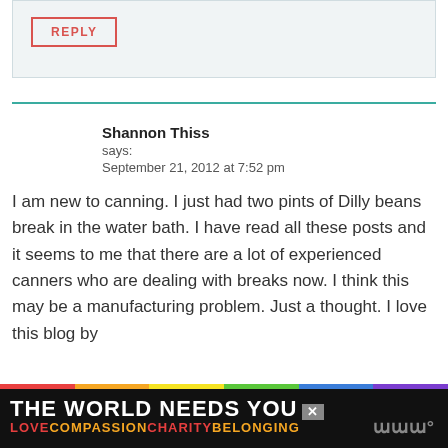[Figure (screenshot): Reply button inside a light blue-gray comment input box]
Shannon Thiss
says:
September 21, 2012 at 7:52 pm
I am new to canning. I just had two pints of Dilly beans break in the water bath. I have read all these posts and it seems to me that there are a lot of experienced canners who are dealing with breaks now. I think this may be a manufacturing problem. Just a thought. I love this blog by
[Figure (screenshot): Advertisement banner: THE WORLD NEEDS YOU with rainbow bar and LOVE COMPASSION CHARITY BELONGING text]